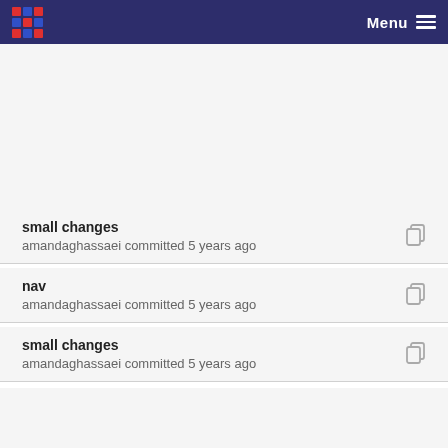Menu
small changes
amandaghassaei committed 5 years ago
nav
amandaghassaei committed 5 years ago
small changes
amandaghassaei committed 5 years ago